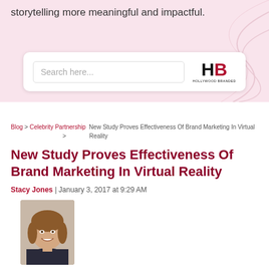storytelling more meaningful and impactful.
[Figure (screenshot): Search bar with 'Search here...' placeholder and Hollywood Branded (HB) logo on the right]
Blog > Celebrity Partnership > New Study Proves Effectiveness Of Brand Marketing In Virtual Reality
New Study Proves Effectiveness Of Brand Marketing In Virtual Reality
Stacy Jones | January 3, 2017 at 9:29 AM
[Figure (photo): Headshot of a smiling woman with shoulder-length brown hair]
Tweet  Share